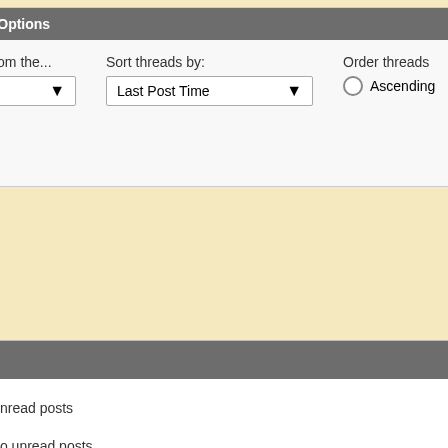Thread Display Options
Show threads from the...
Last Month
Sort threads by:
Last Post Time
Order threads
Ascending
Icon Legend
Contains unread posts
Contains no unread posts
Hot thread with unread posts
Hot thread with no unread posts
Thread is closed
You have posted in this thread
Posting Perm
You may not threads
You may not
You may not attachments
You may not posts
Contact Us   United Subang Jaya e-Com
All times are GMT +8. The time now is 10:1
Powered by vBulletin® Version 4.1.1
Copyright © 2022 vBulletin Solutions, Inc. All righ